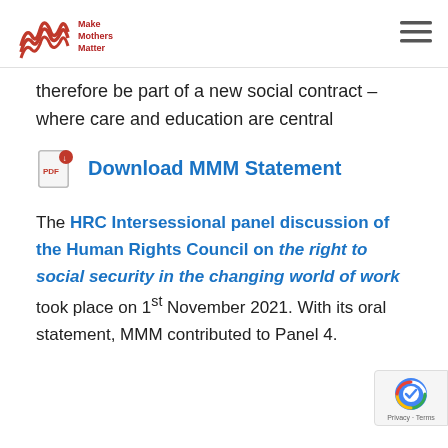Make Mothers Matter — navigation header with logo and hamburger menu
therefore be part of a new social contract – where care and education are central
Download MMM Statement
The HRC Intersessional panel discussion of the Human Rights Council on the right to social security in the changing world of work took place on 1st November 2021. With its oral statement, MMM contributed to Panel 4.